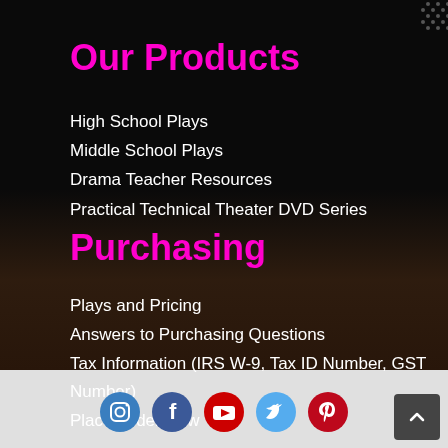Our Products
High School Plays
Middle School Plays
Drama Teacher Resources
Practical Technical Theater DVD Series
Purchasing
Plays and Pricing
Answers to Purchasing Questions
Tax Information (IRS W-9, Tax ID Number, GST Number)
Place Order Now
[Figure (infographic): Social media icons: Instagram, Facebook, YouTube, Twitter, Pinterest in circular buttons]